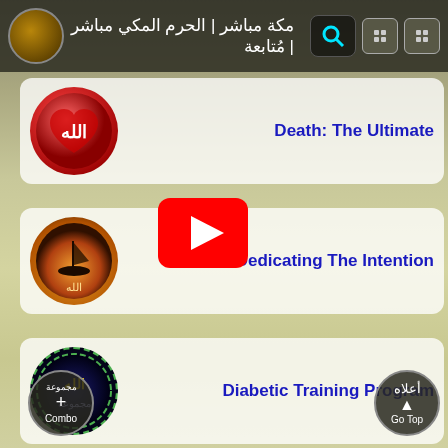مكة المكرم باشر المحرم الحرم مباشر — Arabic navigation bar
[Figure (screenshot): App listing card with red heart-shaped Allah calligraphy icon and title 'Death: The Ultimate']
Death: The Ultimate
[Figure (screenshot): YouTube play button overlay on background]
[Figure (screenshot): App listing card with boat/sunset Allah calligraphy icon and title 'Dedicating The Intention']
Dedicating The Intention
[Figure (screenshot): App listing card with dark cosmic Allah calligraphy icon (Combo) and title 'Diabetic Training Program']
Diabetic Training Program
Combo / Go Top